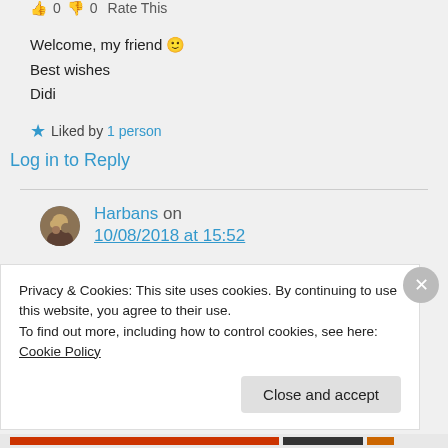0  0  Rate This
Welcome, my friend 🙂
Best wishes
Didi
★ Liked by 1 person
Log in to Reply
Harbans on 10/08/2018 at 15:52
Privacy & Cookies: This site uses cookies. By continuing to use this website, you agree to their use. To find out more, including how to control cookies, see here: Cookie Policy
Close and accept